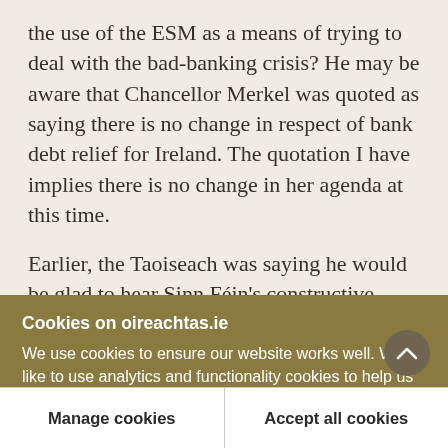the use of the ESM as a means of trying to deal with the bad-banking crisis? He may be aware that Chancellor Merkel was quoted as saying there is no change in respect of bank debt relief for Ireland. The quotation I have implies there is no change in her agenda at this time.
Earlier, the Taoiseach was saying he would be glad to hear Sinn Féin's constructive suggestions on health issues. I am very pleased to be able to say that what we have been arguing for from the outset, namely
Cookies on oireachtas.ie
We use cookies to ensure our website works well. We'd like to use analytics and functionality cookies to help us improve it but we require your consent to do so. If you don't consent, only necessary cookies will be used. Read more about our cookies
Manage cookies
Accept all cookies